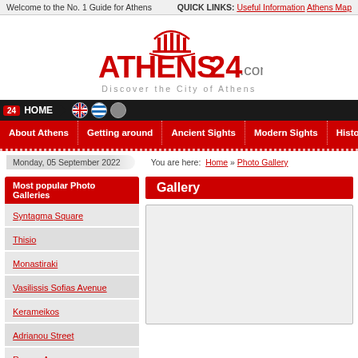Welcome to the No. 1 Guide for Athens | QUICK LINKS: Useful Information  Athens Map
[Figure (logo): Athens24.com logo with dome icon and tagline 'Discover the City of Athens']
24 HOME  |  About Athens  |  Getting around  |  Ancient Sights  |  Modern Sights  |  History
Monday, 05 September 2022    You are here: Home » Photo Gallery
Most popular Photo Galleries
Gallery
Syntagma Square
Thisio
Monastiraki
Vasilissis Sofias Avenue
Kerameikos
Adrianou Street
Roman Agora
Omonia Square